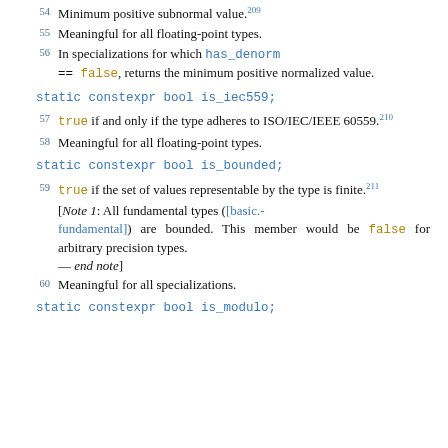54 Minimum positive subnormal value.209
55 Meaningful for all floating-point types.
56 In specializations for which has_denorm == false, returns the minimum positive normalized value.
static constexpr bool is_iec559;
57 true if and only if the type adheres to ISO/IEC/IEEE 60559.210
58 Meaningful for all floating-point types.
static constexpr bool is_bounded;
59 true if the set of values representable by the type is finite.211
[Note 1: All fundamental types ([basic.fundamental]) are bounded. This member would be false for arbitrary precision types. — end note]
60 Meaningful for all specializations.
static constexpr bool is_modulo;